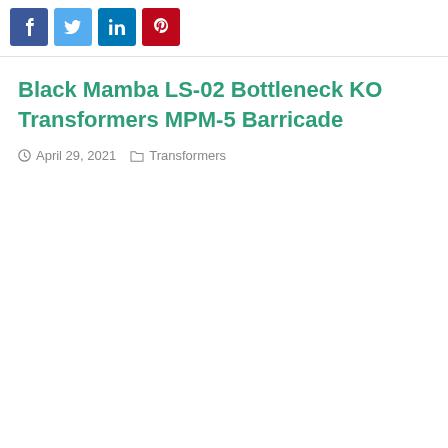[Figure (other): Social media share buttons: Facebook (blue), Twitter (light blue), LinkedIn (dark blue), Pinterest (red)]
Black Mamba LS-02 Bottleneck KO Transformers MPM-5 Barricade
April 29, 2021    Transformers